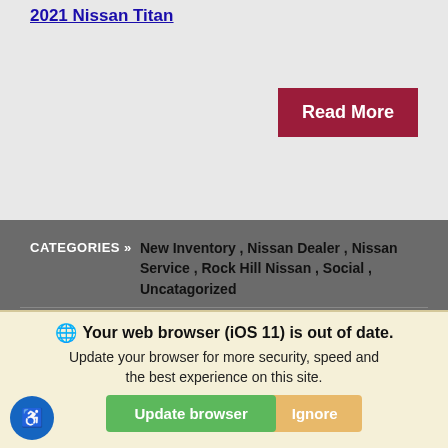2021 Nissan Titan
Read More
| Label | Value |
| --- | --- |
| CATEGORIES » | New Inventory , Nissan Dealer , Nissan Service , Rock Hill Nissan , Social , Uncatagorized |
| TAGS » | 2021 Nissan Titan , Rock Hill Nissan , Rock Hill Nissan Blog , Rock Hill Nissan Blogs , Rock Hill SC Blogs |
Nissan Service Archives –
Your web browser (iOS 11) is out of date. Update your browser for more security, speed and the best experience on this site.
Update browser
Ignore